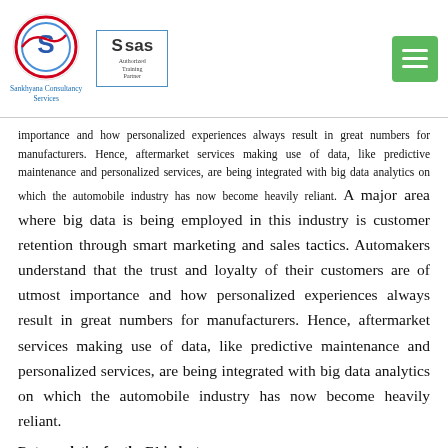[Figure (logo): Sankhyana Consultancy Services logo (circular S emblem) and SAS Authorized Training Partner logo, with a green hamburger menu button]
importance and how personalized experiences always result in great numbers for manufacturers. Hence, aftermarket services making use of data, like predictive maintenance and personalized services, are being integrated with big data analytics on which the automobile industry has now become heavily reliant. A major area where big data is being employed in this industry is customer retention through smart marketing and sales tactics. Automakers understand that the trust and loyalty of their customers are of utmost importance and how personalized experiences always result in great numbers for manufacturers. Hence, aftermarket services making use of data, like predictive maintenance and personalized services, are being integrated with big data analytics on which the automobile industry has now become heavily reliant.
Data analytics for the F1 industry